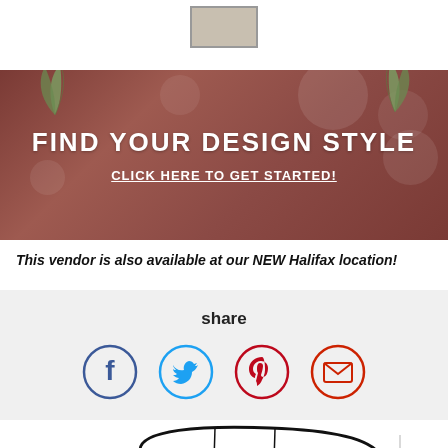[Figure (other): Color swatch in beige/tan with dark border at top center]
[Figure (infographic): Dark reddish-brown banner with bokeh background and leaf decorations reading FIND YOUR DESIGN STYLE / CLICK HERE TO GET STARTED!]
FIND YOUR DESIGN STYLE
CLICK HERE TO GET STARTED!
This vendor is also available at our NEW Halifax location!
share
[Figure (infographic): Social sharing icons: Facebook (blue circle), Twitter (light blue circle), Pinterest (red circle), Email (red circle)]
[Figure (illustration): Line drawing illustration of an armchair/sofa viewed from above/front, black outline on white background]